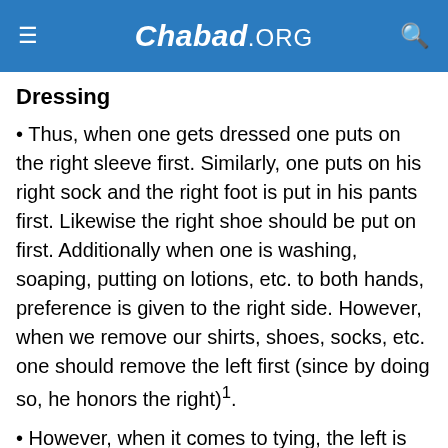Chabad.ORG
Dressing
• Thus, when one gets dressed one puts on the right sleeve first. Similarly, one puts on his right sock and the right foot is put in his pants first. Likewise the right shoe should be put on first. Additionally when one is washing, soaping, putting on lotions, etc. to both hands, preference is given to the right side. However, when we remove our shirts, shoes, socks, etc. one should remove the left first (since by doing so, he honors the right)¹.
• However, when it comes to tying, the left is given preference. The reason being that, we find in the torah